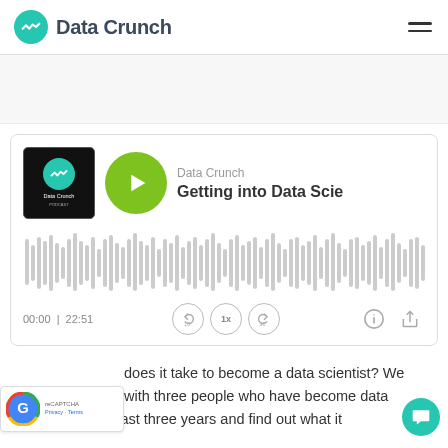Data Crunch
[Figure (screenshot): Data Crunch podcast player widget showing episode 'Getting into Data Science', with waveform visualization, play button, time 00:00 / 22:51, playback controls (rewind 10, 1x speed, forward 30), info and share buttons]
does it take to become a data scientist? We with three people who have become data scientists in the last three years and find out what it